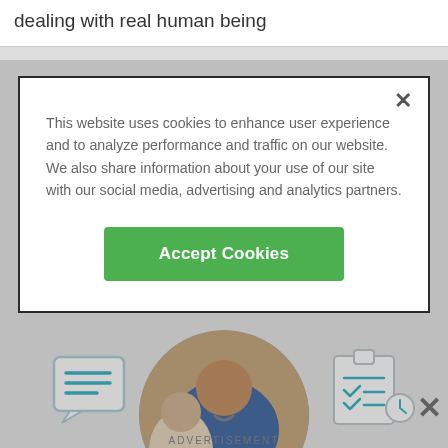dealing with real human being
This website uses cookies to enhance user experience and to analyze performance and traffic on our website. We also share information about your use of our site with our social media, advertising and analytics partners.
Accept Cookies
[Figure (screenshot): Cookie consent modal dialog with close button (×), cookie policy text, and green Accept Cookies button]
[Figure (photo): Doctor with stethoscope consulting with patient, circular cropped photo with chat bubble and clipboard icons on either side]
ADVERTISEMENT
[Figure (screenshot): Healthgrades advertisement banner: '5-star doctors really do exist.' with Find Yours Today button]